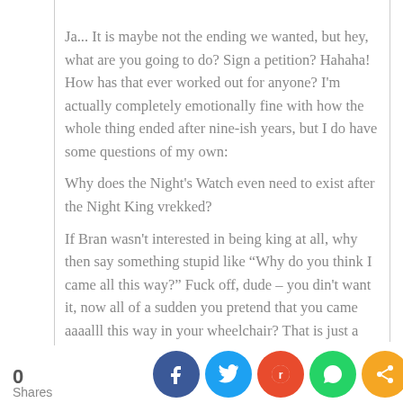Ja... It is maybe not the ending we wanted, but hey, what are you going to do? Sign a petition? Hahaha! How has that ever worked out for anyone? I'm actually completely emotionally fine with how the whole thing ended after nine-ish years, but I do have some questions of my own:
Why does the Night's Watch even need to exist after the Night King vrekked?
If Bran wasn't interested in being king at all, why then say something stupid like “Why do you think I came all this way?” Fuck off, dude – you din't want it, now all of a sudden you pretend that you came aaaalll this way in your wheelchair? That is just a plot hole.
The thing that really got me scratching my head though, was the very last scene in the second last episode – Arya comes across probably the only living
0 Shares